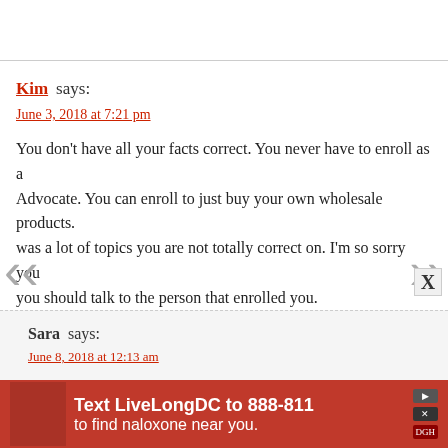Kim says:
June 3, 2018 at 7:21 pm
You don't have all your facts correct. You never have to enroll as a Advocate. You can enroll to just buy your own wholesale products. was a lot of topics you are not totally correct on. I'm so sorry you should talk to the person that enrolled you.
REPLY
Sara says:
June 8, 2018 at 12:13 am
I agree with you, Kim. Not all the facts are right here, and just company off of how many flowers were at a very large deal fo Nowhere is the mention of the way doTERRA gives back
[Figure (advertisement): Red advertisement banner: Text LiveLongDC to 888-811 to find naloxone near you.]